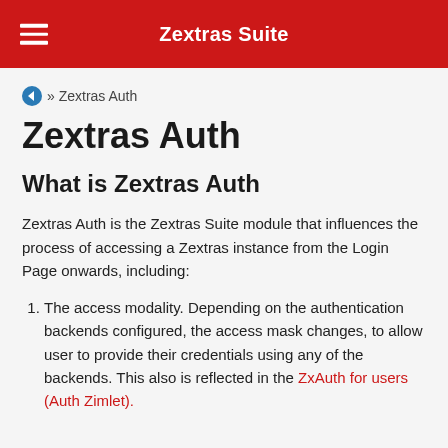Zextras Suite
» Zextras Auth
Zextras Auth
What is Zextras Auth
Zextras Auth is the Zextras Suite module that influences the process of accessing a Zextras instance from the Login Page onwards, including:
The access modality. Depending on the authentication backends configured, the access mask changes, to allow user to provide their credentials using any of the backends. This also is reflected in the ZxAuth for users (Auth Zimlet).